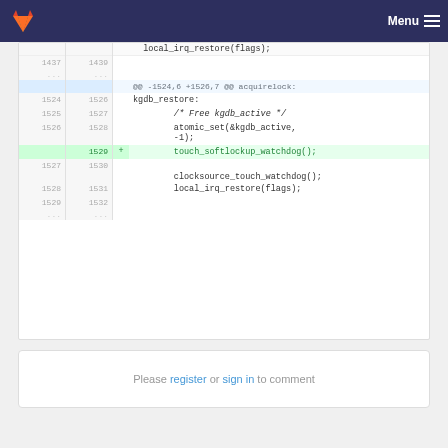GitLab navigation bar with Menu
[Figure (screenshot): GitLab diff view showing code changes. Lines 1437-1532 of a kernel file, with an added line 1529 adding touch_softlockup_watchdog(); call in the kgdb_restore section.]
Please register or sign in to comment